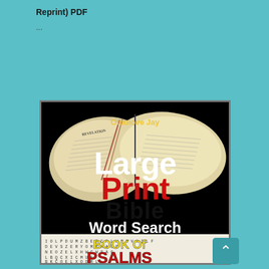Reprint) PDF
...
[Figure (illustration): Book cover for 'Large Print Bible Word Search – Book of Psalms' by Omolove Jay. Black background with open Bible book (showing Revelation page). Large white text 'Large', red text 'Print', black text 'Bible', white text 'Word Search', yellow text 'BOOK Of', red text 'PSALMS'. Bottom shows a word search grid with letters.]